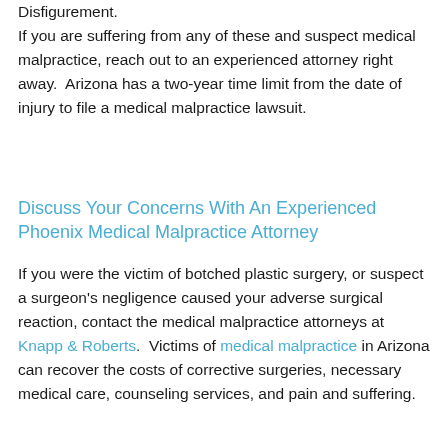Disfigurement. If you are suffering from any of these and suspect medical malpractice, reach out to an experienced attorney right away.  Arizona has a two-year time limit from the date of injury to file a medical malpractice lawsuit.
Discuss Your Concerns With An Experienced Phoenix Medical Malpractice Attorney
If you were the victim of botched plastic surgery, or suspect a surgeon's negligence caused your adverse surgical reaction, contact the medical malpractice attorneys at Knapp & Roberts.  Victims of medical malpractice in Arizona can recover the costs of corrective surgeries, necessary medical care, counseling services, and pain and suffering.
Our firm has been helping attorneys meet with...